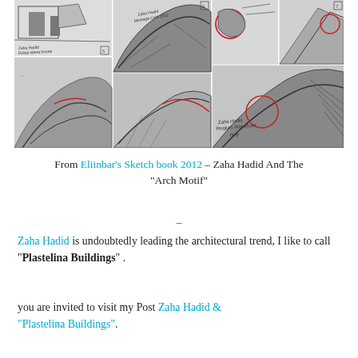[Figure (illustration): A collage of architectural sketch drawings by Zaha Hadid, showing multiple black and white hand-drawn sketches of curved arch forms and buildings, with handwritten annotations including 'Dubai opera house' and 'Zaha Hadid Montage Conf 2012' and 'Zaha Hadid Regium Waterfront Italy'. Red circle annotations are visible on some panels.]
From Eliinbar’s Sketch book 2012 – Zaha Hadid And The “Arch Motif”
–
Zaha Hadid is undoubtedly leading the architectural trend, I like to call “Plastelina Buildings” .
you are invited to visit my Post Zaha Hadid & “Plastelina Buildings”.